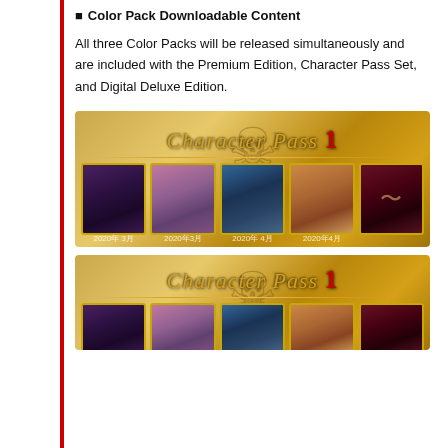Color Pack Downloadable Content
All three Color Packs will be released simultaneously and are included with the Premium Edition, Character Pass Set, and Digital Deluxe Edition.
[Figure (illustration): Character Pass 1 promotional image showing 5 character cards with dates 2020年3月 and 2020年4月, on a golden background with skull motif]
[Figure (illustration): Character Pass 1 promotional image (partially visible, same design as above)]